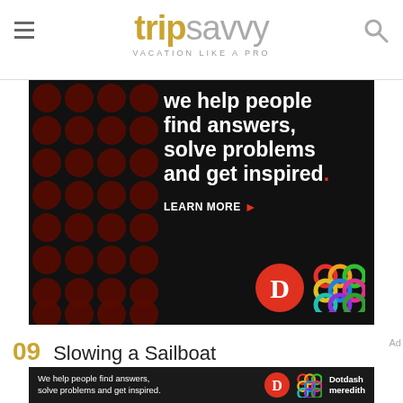tripsavvy VACATION LIKE A PRO
[Figure (advertisement): Dark background advertisement with polka dot pattern on left. Text reads: 'We help people find answers, solve problems and get inspired.' with 'LEARN MORE' button and Dotdash Meredith logos.]
09 Slowing a Sailboat
[Figure (advertisement): Small bottom banner ad: 'We help people find answers, solve problems and get inspired.' with Dotdash Meredith logo on right.]